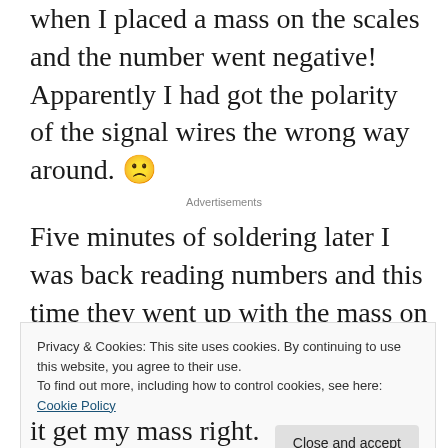when I placed a mass on the scales and the number went negative! Apparently I had got the polarity of the signal wires the wrong way around. 🙁
Advertisements
Five minutes of soldering later I was back reading numbers and this time they went up with the mass on the scales. According to the instructions on the test sketch I kept adjusting
Privacy & Cookies: This site uses cookies. By continuing to use this website, you agree to their use.
To find out more, including how to control cookies, see here: Cookie Policy
Close and accept
it get my mass right.